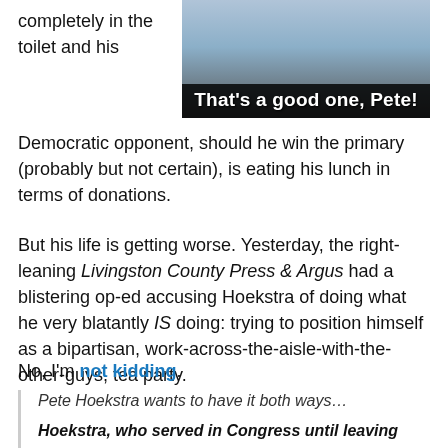completely in the toilet and his
[Figure (photo): Meme image of a man in a suit with text overlay reading 'That's a good one, Pete!']
Democratic opponent, should he win the primary (probably but not certain), is eating his lunch in terms of donations.
But his life is getting worse. Yesterday, the right-leaning Livingston County Press & Argus had a blistering op-ed accusing Hoekstra of doing what he very blatantly IS doing: trying to position himself as a bipartisan, work-across-the-aisle-with-the-other-guys, tea party.
No, I'm not kidding.
Pete Hoekstra wants to have it both ways…
Hoekstra, who served in Congress until leaving